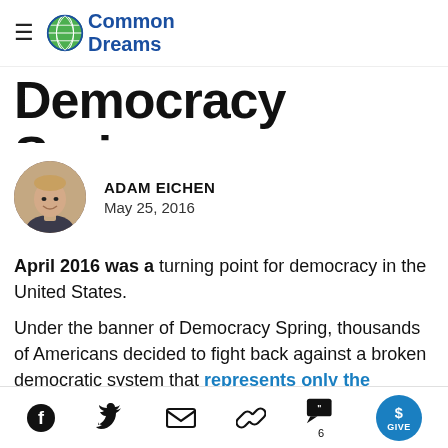Common Dreams
Democracy Spring
[Figure (photo): Circular headshot of author Adam Eichen, a young man smiling, wearing a dark shirt, photographed outdoors against a brick wall background.]
ADAM EICHEN
May 25, 2016
April 2016 was a turning point for democracy in the United States.
Under the banner of Democracy Spring, thousands of Americans decided to fight back against a broken democratic system that represents only the
Social sharing icons: Facebook, Twitter, Email, Link, Comments (6), GIVE